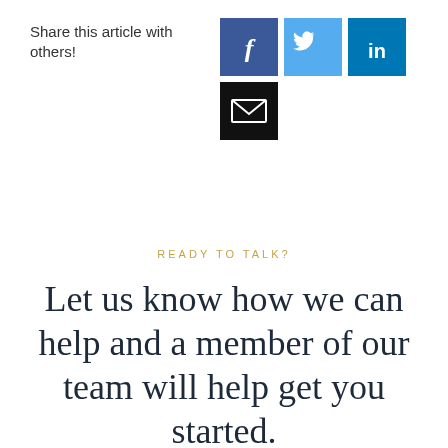Share this article with others!
[Figure (infographic): Social sharing buttons: Facebook (dark blue), Twitter (light blue), LinkedIn (medium blue), and Email (black) icons]
READY TO TALK?
Let us know how we can help and a member of our team will help get you started.